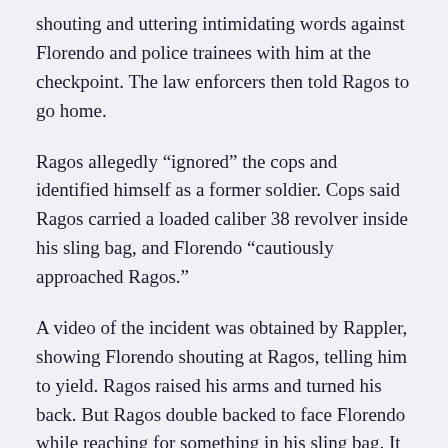shouting and uttering intimidating words against Florendo and police trainees with him at the checkpoint. The law enforcers then told Ragos to go home.
Ragos allegedly “ignored” the cops and identified himself as a former soldier. Cops said Ragos carried a loaded caliber 38 revolver inside his sling bag, and Florendo “cautiously approached Ragos.”
A video of the incident was obtained by Rappler, showing Florendo shouting at Ragos, telling him to yield. Ragos raised his arms and turned his back. But Ragos double backed to face Florendo while reaching for something in his sling bag. It turned out, Ragos was about to pull out a pistol in the bag, police said.